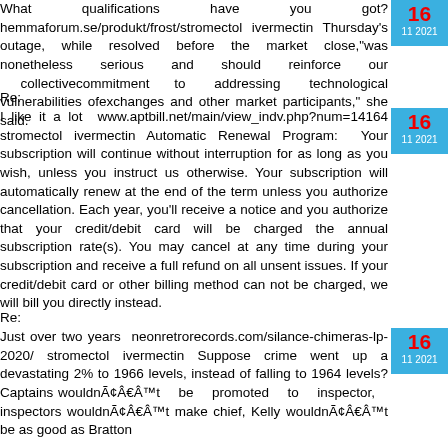What qualifications have you got? hemmaforum.se/produkt/frost/stromectol ivermectin Thursday's outage, while resolved before the market close,"was nonetheless serious and should reinforce our collectivecommitment to addressing technological vulnerabilities ofexchanges and other market participants," she said.
Re:
I like it a lot www.aptbill.net/main/view_indv.php?num=14164 stromectol ivermectin Automatic Renewal Program: Your subscription will continue without interruption for as long as you wish, unless you instruct us otherwise. Your subscription will automatically renew at the end of the term unless you authorize cancellation. Each year, you'll receive a notice and you authorize that your credit/debit card will be charged the annual subscription rate(s). You may cancel at any time during your subscription and receive a full refund on all unsent issues. If your credit/debit card or other billing method can not be charged, we will bill you directly instead.
Re:
Just over two years neonretrorecords.com/silance-chimeras-lp-2020/ stromectol ivermectin Suppose crime went up a devastating 2% to 1966 levels, instead of falling to 1964 levels? Captains wouldnÃ¢Â€Â™t be promoted to inspector, inspectors wouldnÃ¢Â€Â™t make chief, Kelly wouldnÃ¢Â€Â™t be as good as Bratton